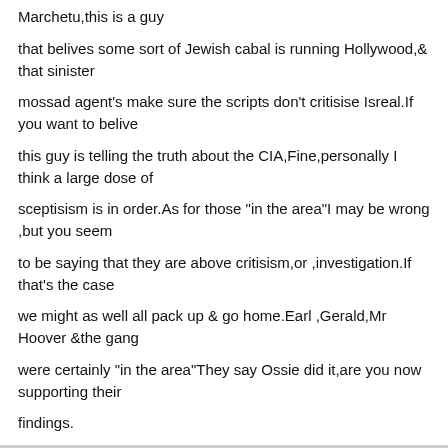Marchetu,this is a guy
that belives some sort of Jewish cabal is running Hollywood,& that sinister
mossad agent's make sure the scripts don't critisise Isreal.If you want to belive
this guy is telling the truth about the CIA,Fine,personally I think a large dose of
sceptisism is in order.As for those "in the area"I may be wrong ,but you seem
to be saying that they are above critisism,or ,investigation.If that's the case
we might as well all pack up & go home.Earl ,Gerald,Mr Hoover &the gang
were certainly "in the area"They say Ossie did it,are you now supporting their
findings.